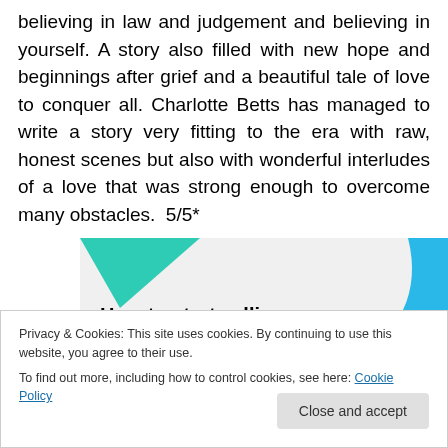believing in law and judgement and believing in yourself. A story also filled with new hope and beginnings after grief and a beautiful tale of love to conquer all. Charlotte Betts has managed to write a story very fitting to the era with raw, honest scenes but also with wonderful interludes of a love that was strong enough to overcome many obstacles.  5/5*
[Figure (infographic): Advertisement banner with teal triangle top-left, blue curved shape top-right, and bold text reading 'How to start selling subscriptions online']
Privacy & Cookies: This site uses cookies. By continuing to use this website, you agree to their use.
To find out more, including how to control cookies, see here: Cookie Policy